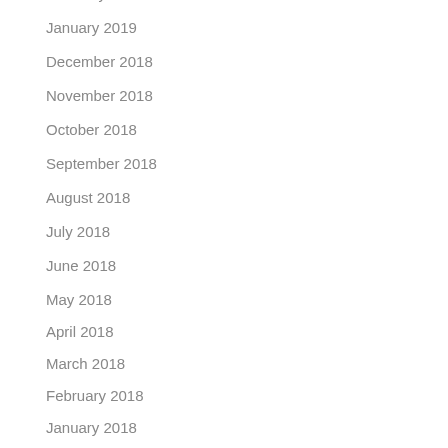February 2019
January 2019
December 2018
November 2018
October 2018
September 2018
August 2018
July 2018
June 2018
May 2018
April 2018
March 2018
February 2018
January 2018
December 2017